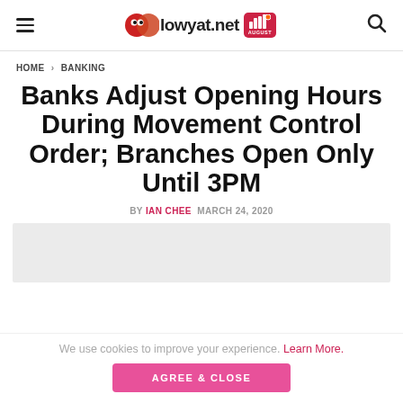lowyat.net
HOME > BANKING
Banks Adjust Opening Hours During Movement Control Order; Branches Open Only Until 3PM
BY IAN CHEE  MARCH 24, 2020
[Figure (photo): Grey placeholder image area]
We use cookies to improve your experience. Learn More.
AGREE & CLOSE